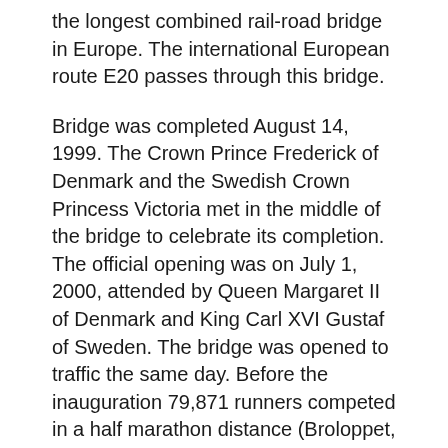the longest combined rail-road bridge in Europe. The international European route E20 passes through this bridge.
Bridge was completed August 14, 1999. The Crown Prince Frederick of Denmark and the Swedish Crown Princess Victoria met in the middle of the bridge to celebrate its completion. The official opening was on July 1, 2000, attended by Queen Margaret II of Denmark and King Carl XVI Gustaf of Sweden. The bridge was opened to traffic the same day. Before the inauguration 79,871 runners competed in a half marathon distance (Broloppet, the Bridge Run) from Amager (in Denmark) and Skane (Sweden) on June 12, 2000.